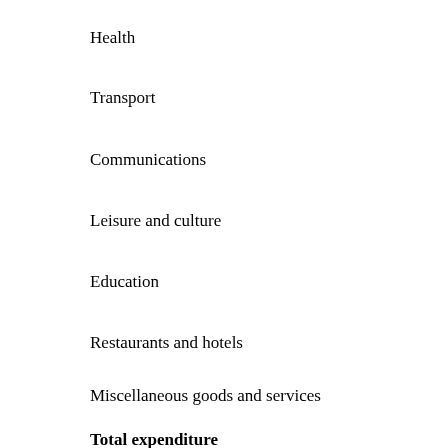Health
Transport
Communications
Leisure and culture
Education
Restaurants and hotels
Miscellaneous goods and services
Total expenditure
Source : INEC